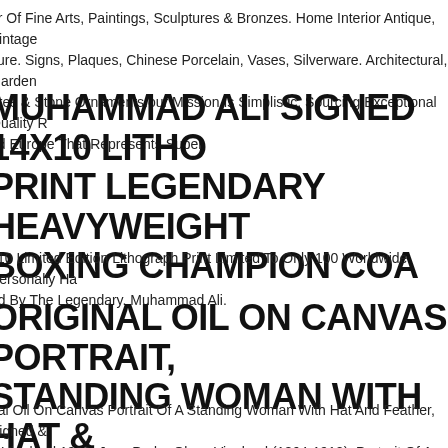or Of Fine Arts, Paintings, Sculptures & Bronzes. Home Interior Antique, Vintage iture. Signs, Plaques, Chinese Porcelain, Vases, Silverware. Architectural, Garden ures & Stone Ornaments.our Mission Is Simplistic, Sourcing Exceptional Quality R nd Europe That Represents Super.
MUHAMMAD ALI SIGNED 14X10 LITHO PRINT LEGENDARY HEAVYWEIGHT BOXING CHAMPION COA
x10 Limited Edition Lithograph Print Limited To Only 100 Worldwide Personally Ha ed By The Legendary. Muhammad Ali.
ORIGINAL OIL ON CANVAS PORTRAIT, STANDING WOMAN WITH HAT & FEATHER, SIGNED
nal Oil On Canvas Portrait Of A Standing Woman With Hat And Feather, Signed & d Vigeland 1909. Jens Peder Olsen Vigeland (1864-1912), Portrait Of A Standing an In Evening Wear, Oil On Canvas.